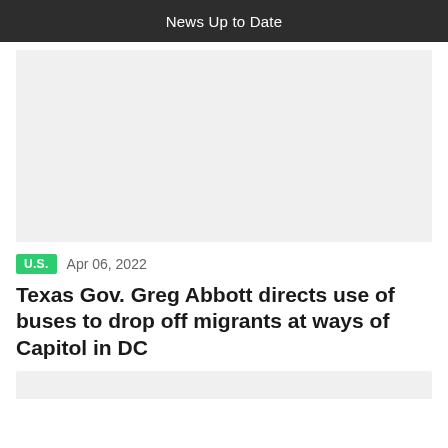News Up to Date
[Figure (photo): Large image placeholder (light gray rectangle)]
U.S.   Apr 06, 2022
Texas Gov. Greg Abbott directs use of buses to drop off migrants at ways of Capitol in DC